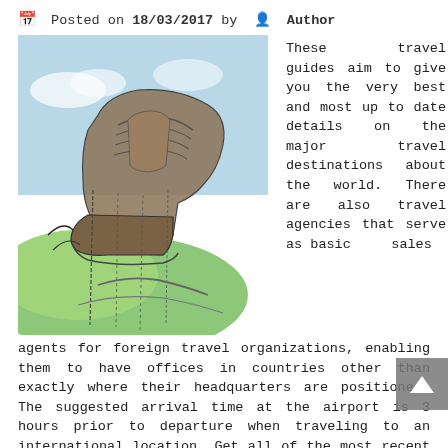Posted on 18/03/2017 by Author
[Figure (illustration): Sketch/illustration of a worn boot or shoe on a green and blue landscape background, drawn in pencil and watercolor style.]
These travel guides aim to give you the very best and most up to date details on the major travel destinations about the world. There are also travel agencies that serve as basic sales agents for foreign travel organizations, enabling them to have offices in countries other than exactly where their headquarters are positioned. The suggested arrival time at the airport is 3 hours prior to departure when traveling to an international location. Get all of the most recent organization news and service updates for Thames Travel bus routes in